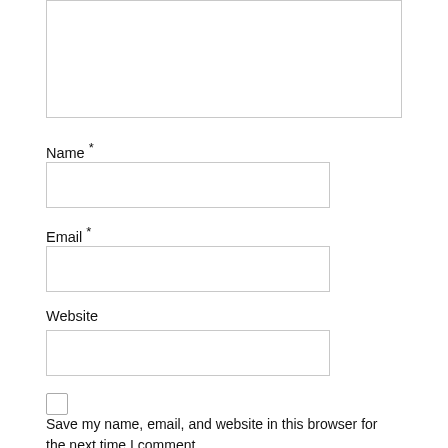[Figure (screenshot): Empty textarea input box at the top of the page]
Name *
[Figure (screenshot): Name text input field]
Email *
[Figure (screenshot): Email text input field]
Website
[Figure (screenshot): Website text input field]
[Figure (screenshot): Checkbox (unchecked)]
Save my name, email, and website in this browser for the next time I comment.